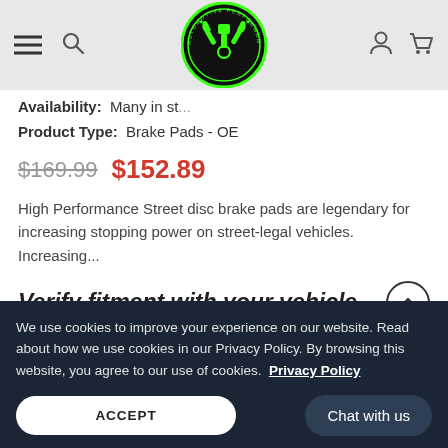[Figure (logo): Automotive Performance and Tuning circular logo with green wrench and piston graphic on black background]
Availability: Many in st...
Product Type: Brake Pads - OE
$169.99  $152.89
High Performance Street disc brake pads are legendary for increasing stopping power on street-legal vehicles. Increasing...
Verify fitment with your vehicle
Year
Make
Model
We use cookies to improve your experience on our website. Read about how we use cookies in our Privacy Policy. By browsing this website, you agree to our use of cookies. Privacy Policy
ACCEPT
Chat with us